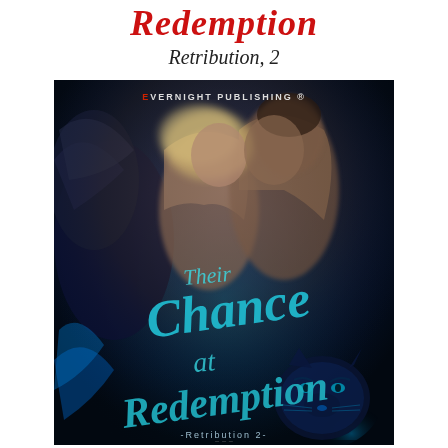Redemption
Retribution, 2
[Figure (photo): Book cover for 'Their Chance at Redemption' (Retribution 2) published by Evernight Publishing. Dark blue-toned cover featuring a couple in an intimate pose with a tiger in the lower right corner. Title text in teal/cyan script overlaid on the image. Bottom reads '-Retribution 2-' with author name partially visible.]